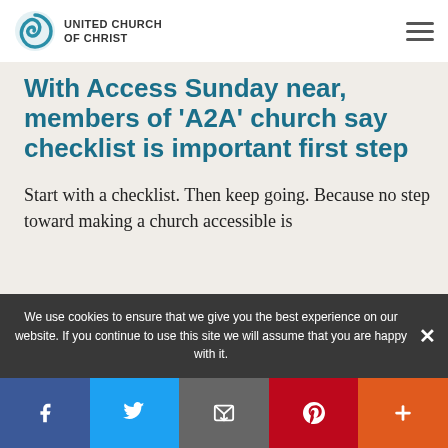United Church of Christ
With Access Sunday near, members of 'A2A' church say checklist is important first step
Start with a checklist. Then keep going. Because no step toward making a church accessible is
We use cookies to ensure that we give you the best experience on our website. If you continue to use this site we will assume that you are happy with it.